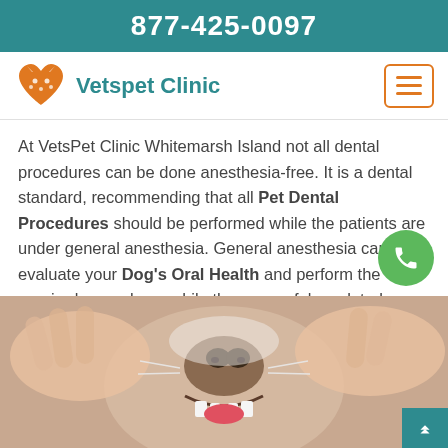877-425-0097
Vetspet Clinic
At VetsPet Clinic Whitemarsh Island not all dental procedures can be done anesthesia-free. It is a dental standard, recommending that all Pet Dental Procedures should be performed while the patients are under general anesthesia. General anesthesia carefully evaluate your Dog's Oral Health and perform the required procedures while they are safely sedated.
[Figure (photo): Close-up photo of a dog's mouth being held open by human hands, showing teeth and gums — veterinary dental examination scene.]